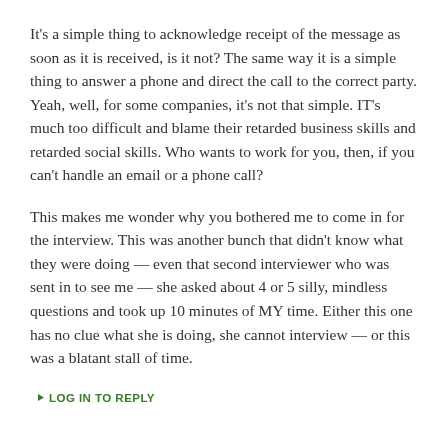It's a simple thing to acknowledge receipt of the message as soon as it is received, is it not? The same way it is a simple thing to answer a phone and direct the call to the correct party. Yeah, well, for some companies, it's not that simple. IT's much too difficult and blame their retarded business skills and retarded social skills. Who wants to work for you, then, if you can't handle an email or a phone call?
This makes me wonder why you bothered me to come in for the interview. This was another bunch that didn't know what they were doing — even that second interviewer who was sent in to see me — she asked about 4 or 5 silly, mindless questions and took up 10 minutes of MY time. Either this one has no clue what she is doing, she cannot interview — or this was a blatant stall of time.
LOG IN TO REPLY